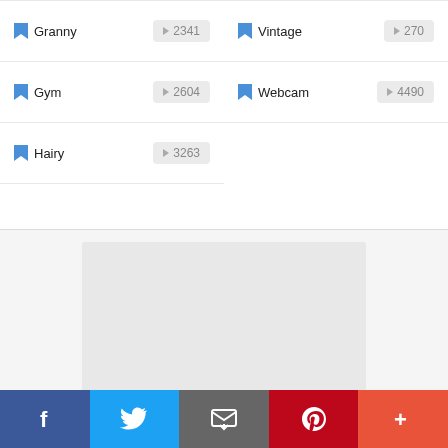Granny 2341
Vintage 270
Gym 2604
Webcam 4490
Hairy 3263
[Figure (other): Gray advertisement placeholder box]
[Figure (other): Social sharing bar with Facebook, Twitter, Email, Pinterest, and More buttons]